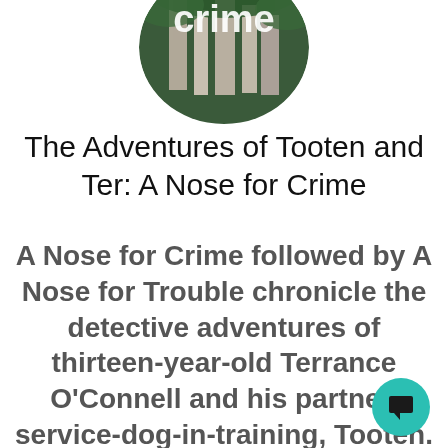[Figure (logo): Circular logo image with text 'crime' and background showing architectural/stone columns with green foliage]
The Adventures of Tooten and Ter: A Nose for Crime
A Nose for Crime followed by A Nose for Trouble chronicle the detective adventures of thirteen-year-old Terrance O'Connell and his partner, service-dog-in-training, Tooten. Ter is a street-